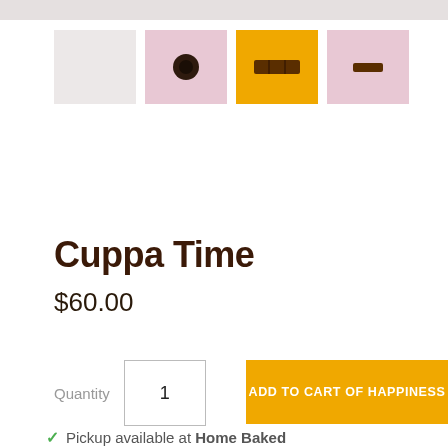[Figure (screenshot): Top grey bar, partial page header]
[Figure (photo): Row of four product thumbnail images: first is grey/blank, second shows a dark round cookie on pink background, third shows a rectangular chocolate on orange/yellow background (highlighted/selected), fourth shows a small item on pink background]
Cuppa Time
$60.00
Quantity  1  ADD TO CART OF HAPPINESS
Pickup available at Home Baked